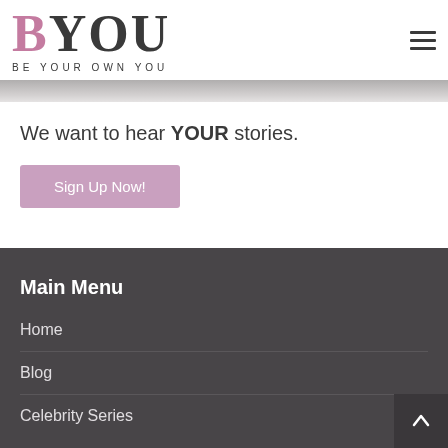BYOU — BE YOUR OWN YOU
[Figure (photo): Partial image strip at top of content area, grayscale gradient]
We want to hear YOUR stories.
Sign Up Now!
Main Menu
Home
Blog
Celebrity Series